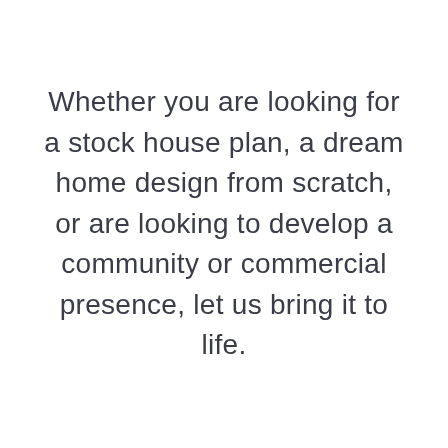Whether you are looking for a stock house plan, a dream home design from scratch, or are looking to develop a community or commercial presence, let us bring it to life.